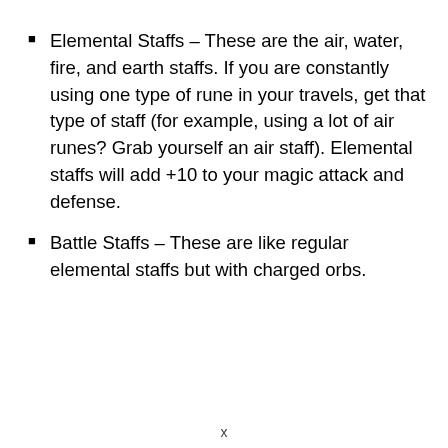Elemental Staffs – These are the air, water, fire, and earth staffs. If you are constantly using one type of rune in your travels, get that type of staff (for example, using a lot of air runes? Grab yourself an air staff). Elemental staffs will add +10 to your magic attack and defense.
Battle Staffs – These are like regular elemental staffs but with charged orbs.